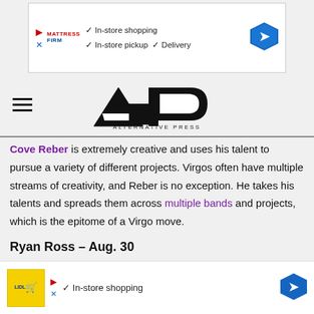[Figure (other): Mattress Firm advertisement banner with checkmarks for In-store shopping, In-store pickup, and Delivery, and a navigation arrow icon]
[Figure (logo): Alternative Press (AP) logo — large stylized AP letters with ALTERNATIVE PRESS text below]
Cove Reber is extremely creative and uses his talent to pursue a variety of different projects. Virgos often have multiple streams of creativity, and Reber is no exception. He takes his talents and spreads them across multiple bands and projects, which is the epitome of a Virgo move.
Ryan Ross – Aug. 30
A true Virgo is inherently talented and goal-oriented. Ex-Panic! At The Disco guitarist Ryan Ross is all of the above. Ross values [obscured] ess. Virgos [obscured] hey
[Figure (other): Lidl advertisement banner with In-store shopping checkmark and navigation arrow icon]